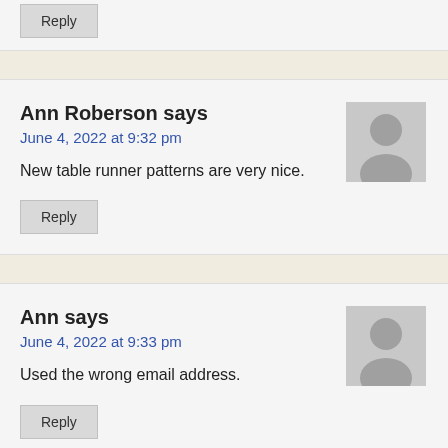Reply
Ann Roberson says
June 4, 2022 at 9:32 pm
New table runner patterns are very nice.
Reply
Ann says
June 4, 2022 at 9:33 pm
Used the wrong email address.
Reply